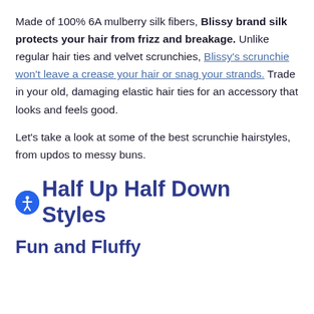Made of 100% 6A mulberry silk fibers, Blissy brand silk protects your hair from frizz and breakage. Unlike regular hair ties and velvet scrunchies, Blissy's scrunchie won't leave a crease your hair or snag your strands. Trade in your old, damaging elastic hair ties for an accessory that looks and feels good.
Let's take a look at some of the best scrunchie hairstyles, from updos to messy buns.
Half Up Half Down Styles
Fun and Fluffy